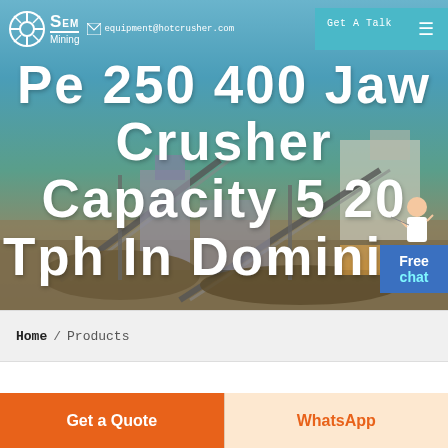equipment@hotcrusher.com | Get A Talk
[Figure (photo): Industrial crushing/mining facility with conveyor belts and equipment against a blue sky background]
Pe 250 400 Jaw Crusher Capacity 5 20 Tph In Dominica
Free chat
Home / Products
Get a Quote
WhatsApp